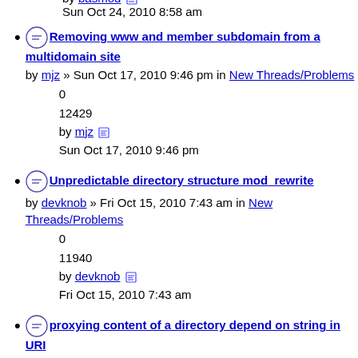12140
by basmod Sun Oct 24, 2010 8:58 am
Removing www and member subdomain from a multidomain site
by mjz » Sun Oct 17, 2010 9:46 pm in New Threads/Problems
0
12429
by mjz Sun Oct 17, 2010 9:46 pm
Unpredictable directory structure mod_rewrite
by devknob » Fri Oct 15, 2010 7:43 am in New Threads/Problems
0
11940
by devknob Fri Oct 15, 2010 7:43 am
proxying content of a directory depend on string in URI
by BMN » Wed Oct 13, 2010 11:46 am in Beginner's Corner
0
13029
by BMN